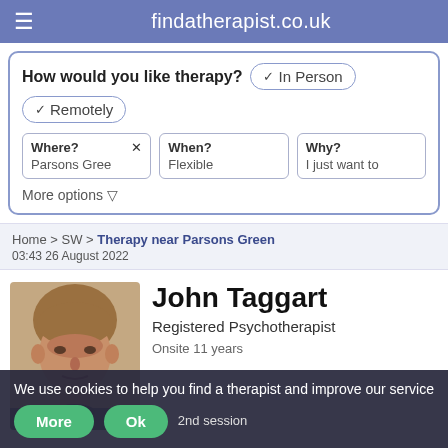findatherapist.co.uk
How would you like therapy? ✓In Person ✓Remotely
Where? X Parsons Gree | When? Flexible | Why? I just want to
More options ▽
Home > SW > Therapy near Parsons Green 03:43 26 August 2022
John Taggart
Registered Psychotherapist
Onsite 11 years
84% ... 2nd session
We use cookies to help you find a therapist and improve our service